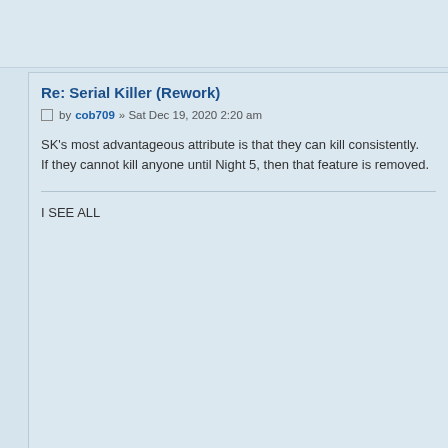Re: Serial Killer (Rework)
by cob709 » Sat Dec 19, 2020 2:20 am
SK's most advantageous attribute is that they can kill consistently. If they cannot kill anyone until Night 5, then that feature is removed.
I SEE ALL